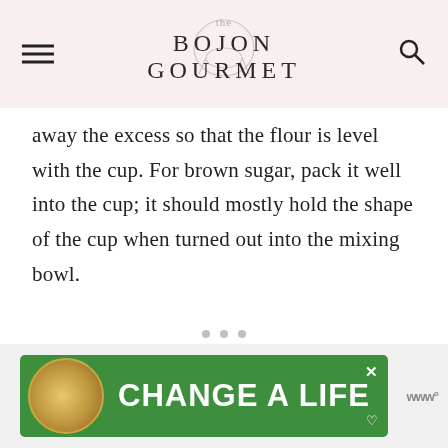the BOJON GOURMET
away the excess so that the flour is level with the cup. For brown sugar, pack it well into the cup; it should mostly hold the shape of the cup when turned out into the mixing bowl.
[Figure (other): Advertisement banner for 'CHANGE A LIFE' featuring a dog photo on a green background with close button]